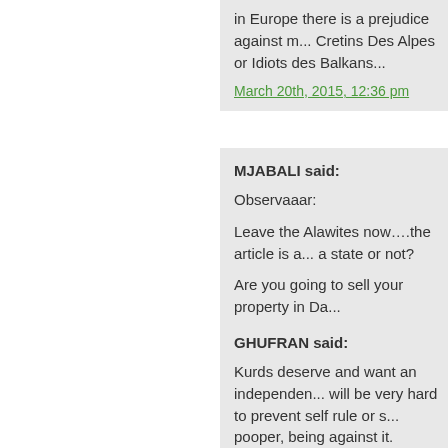in Europe there is a prejudice against n... Cretins Des Alpes or Idiots des Balkans...
March 20th, 2015, 12:36 pm
MJABALI said:
Observaaar:
Leave the Alawites now….the article is a... a state or not?
Are you going to sell your property in Da...
The topic is the Kurds and the Arabs in...
Ibn Taymiyah is the most important figu... East….
March 20th, 2015, 2:11 pm
GHUFRAN said:
Kurds deserve and want an independen... will be very hard to prevent self rule or s... pooper, being against it. Do not blame Kurds for wanting to sepa... been intolerant and are not ready for de... The argument that we deserve western... ruled by dictators is weak and could not... thing rebels and their supporters did wh... certain areas was to kill, imprison or ki...